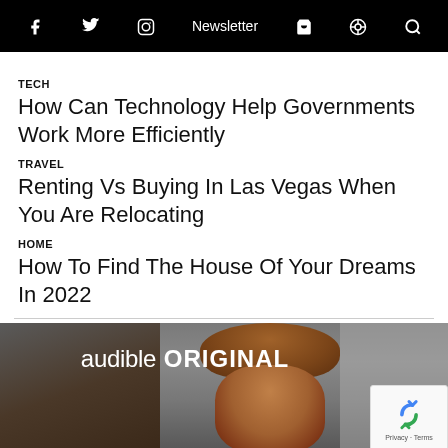f  Twitter  Instagram  Newsletter  Cart  Podcast  Search
TECH
How Can Technology Help Governments Work More Efficiently
TRAVEL
Renting Vs Buying In Las Vegas When You Are Relocating
HOME
How To Find The House Of Your Dreams In 2022
[Figure (photo): Audible ORIGINAL advertisement banner with a man wearing a brown hat, overlaid with the text 'audible ORIGINAL']